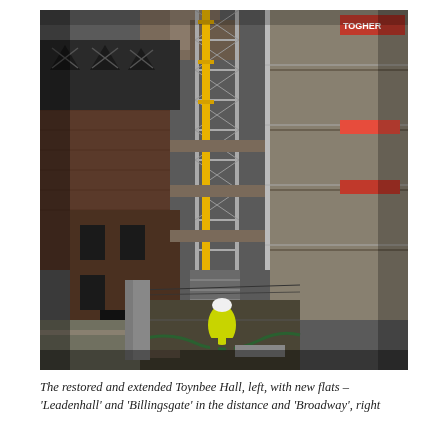[Figure (photo): Construction site photograph taken from above looking down a narrow alleyway. On the left are restored brick buildings with dark metal-clad roof dormers featuring X-shaped details, part of Toynbee Hall. The centre shows tall scaffold tower with yellow crane, stairways and platforms. On the right is a new concrete building under construction with multiple floors of scaffolding and red/white signage including 'TOGHER'. A construction worker in yellow hi-vis vest and white hard hat stands at the bottom of the alley.]
The restored and extended Toynbee Hall, left, with new flats – 'Leadenhall' and 'Billingsgate' in the distance and 'Broadway', right